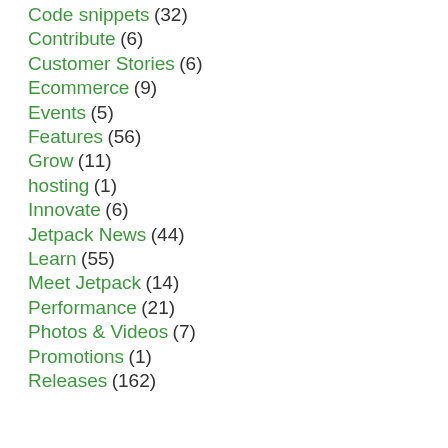Code snippets (32)
Contribute (6)
Customer Stories (6)
Ecommerce (9)
Events (5)
Features (56)
Grow (11)
hosting (1)
Innovate (6)
Jetpack News (44)
Learn (55)
Meet Jetpack (14)
Performance (21)
Photos & Videos (7)
Promotions (1)
Releases (162)